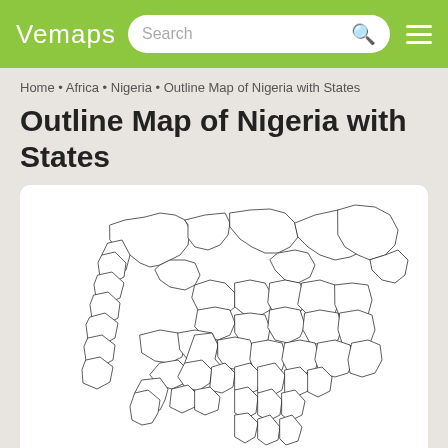Vemaps
Home · Africa · Nigeria · Outline Map of Nigeria with States
Outline Map of Nigeria with States
[Figure (map): Outline map of Nigeria showing state boundaries, white fill with thin black outlines on white background with rounded card border.]